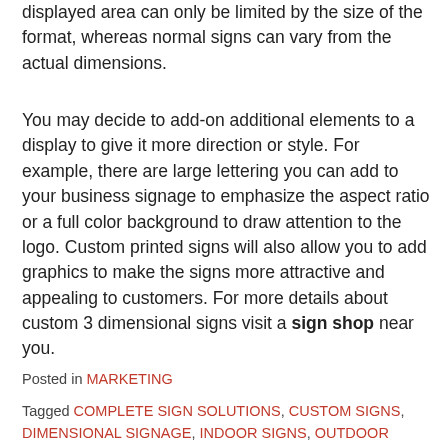displayed area can only be limited by the size of the format, whereas normal signs can vary from the actual dimensions.
You may decide to add-on additional elements to a display to give it more direction or style. For example, there are large lettering you can add to your business signage to emphasize the aspect ratio or a full color background to draw attention to the logo. Custom printed signs will also allow you to add graphics to make the signs more attractive and appealing to customers. For more details about custom 3 dimensional signs visit a sign shop near you.
Posted in MARKETING
Tagged COMPLETE SIGN SOLUTIONS, CUSTOM SIGNS, DIMENSIONAL SIGNAGE, INDOOR SIGNS, OUTDOOR